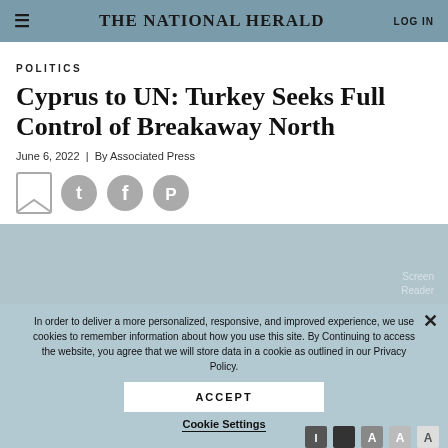THE NATIONAL HERALD | LOG IN
POLITICS
Cyprus to UN: Turkey Seeks Full Control of Breakaway North
June 6, 2022 | By Associated Press
[Figure (other): Social sharing icons: bookmark, Twitter, Facebook, Pinterest]
[Figure (photo): Partially visible photo behind cookie consent overlay]
In order to deliver a more personalized, responsive, and improved experience, we use cookies to remember information about how you use this site. By Continuing to access the website, you agree that we will store data in a cookie as outlined in our Privacy Policy.
ACCEPT
Cookie Settings